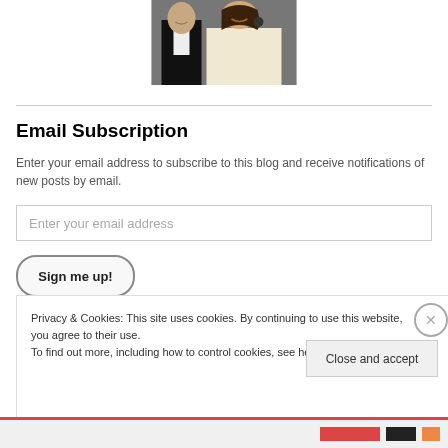[Figure (photo): A couple, man in tuxedo and woman in white top, smiling, cropped at top of page]
Email Subscription
Enter your email address to subscribe to this blog and receive notifications of new posts by email.
Enter your email address
Sign me up!
Privacy & Cookies: This site uses cookies. By continuing to use this website, you agree to their use.
To find out more, including how to control cookies, see here: Cookie Policy
Close and accept